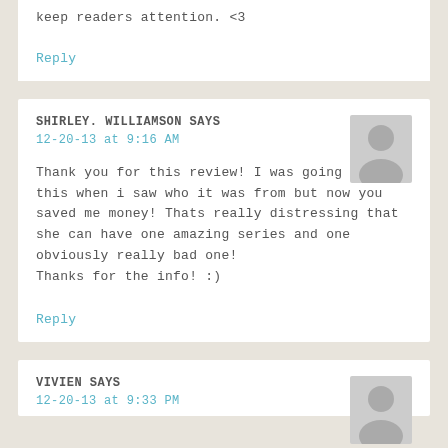keep readers attention. <3
Reply
SHIRLEY. WILLIAMSON SAYS
12-20-13 at 9:16 AM
Thank you for this review! I was going to buy this when i saw who it was from but now you saved me money! Thats really distressing that she can have one amazing series and one obviously really bad one!
Thanks for the info! :)
Reply
VIVIEN SAYS
12-20-13 at 9:33 PM